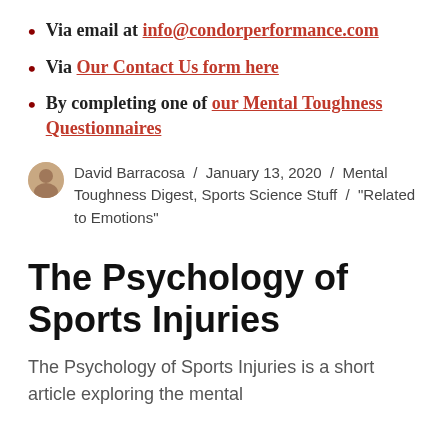Via email at info@condorperformance.com
Via Our Contact Us form here
By completing one of our Mental Toughness Questionnaires
David Barracosa / January 13, 2020 / Mental Toughness Digest, Sports Science Stuff / "Related to Emotions"
The Psychology of Sports Injuries
The Psychology of Sports Injuries is a short article exploring the mental